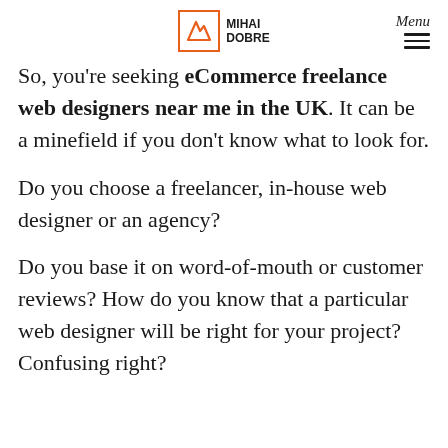Mihai Dobre | Menu
So, you're seeking eCommerce freelance web designers near me in the UK. It can be a minefield if you don't know what to look for.
Do you choose a freelancer, in-house web designer or an agency?
Do you base it on word-of-mouth or customer reviews? How do you know that a particular web designer will be right for your project? Confusing right?